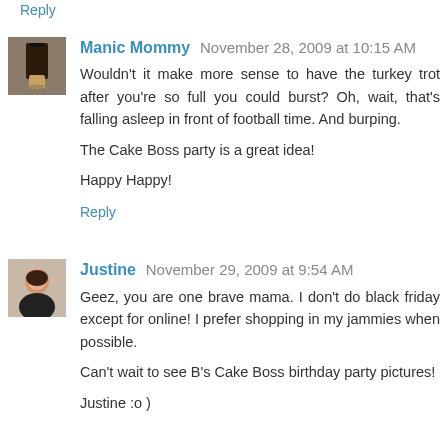Reply (partial, top of page)
Manic Mommy  November 28, 2009 at 10:15 AM
Wouldn't it make more sense to have the turkey trot after you're so full you could burst? Oh, wait, that's falling asleep in front of football time. And burping.

The Cake Boss party is a great idea!

Happy Happy!
Reply
Justine  November 29, 2009 at 9:54 AM
Geez, you are one brave mama. I don't do black friday except for online! I prefer shopping in my jammies when possible.

Can't wait to see B's Cake Boss birthday party pictures!

Justine :o )